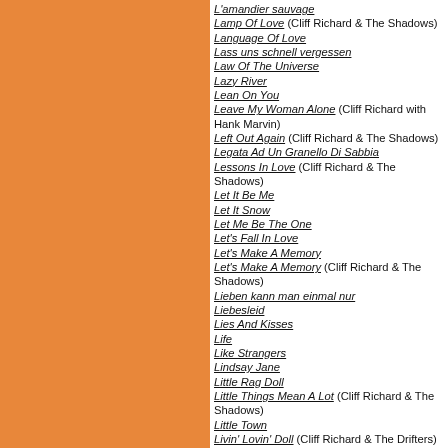L'amandier sauvage
Lamp Of Love (Cliff Richard & The Shadows)
Language Of Love
Lass uns schnell vergessen
Law Of The Universe
Lazy River
Lean On You
Leave My Woman Alone (Cliff Richard with Hank Marvin)
Left Out Again (Cliff Richard & The Shadows)
Legata Ad Un Granello Di Sabbia
Lessons In Love (Cliff Richard & The Shadows)
Let It Be Me
Let It Snow
Let Me Be The One
Let's Fall In Love
Let's Make A Memory
Let's Make A Memory (Cliff Richard & The Shadows)
Lieben kann man einmal nur
Liebesleid
Lies And Kisses
Life
Like Strangers
Lindsay Jane
Little Rag Doll
Little Things Mean A Lot (Cliff Richard & The Shadows)
Little Town
Livin' Lovin' Doll (Cliff Richard & The Drifters)
Living Doll (Cliff Richard & The Young Ones feat. Marvin)
Living Doll
Living In Harmony
Locked Inside Your Prison
London ist nicht weit
London's Not Too Far
Lonely Girl
Long Long Time
Look Before You Love (Cliff Richard & The Shadows)